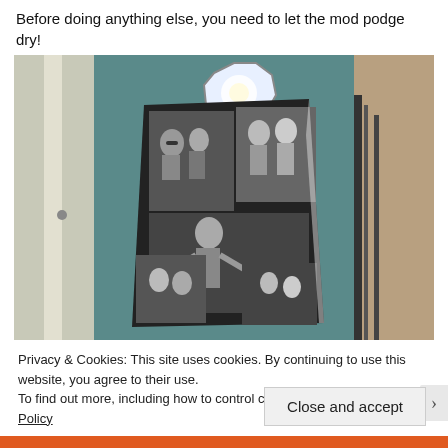Before doing anything else, you need to let the mod podge dry!
[Figure (photo): A large black-and-white photo collage canvas leaning against a staircase railing. The collage contains multiple photos of groups of people. A bright octagonal window is visible in the background. The room has teal-painted walls.]
Privacy & Cookies: This site uses cookies. By continuing to use this website, you agree to their use.
To find out more, including how to control cookies, see here: Cookie Policy
Close and accept